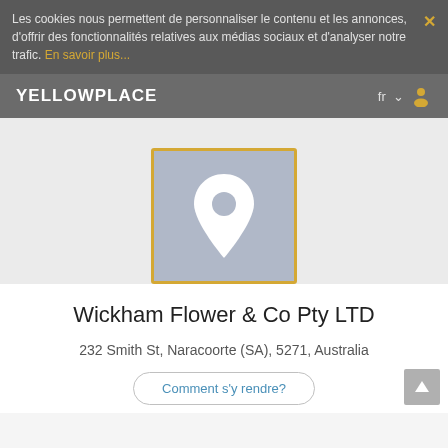Les cookies nous permettent de personnaliser le contenu et les annonces, d'offrir des fonctionnalités relatives aux médias sociaux et d'analyser notre trafic. En savoir plus...
YELLOWPLACE
[Figure (illustration): Location pin icon in white on a grey-blue square background with a yellow border]
Wickham Flower & Co Pty LTD
232 Smith St, Naracoorte (SA), 5271, Australia
Comment s'y rendre?